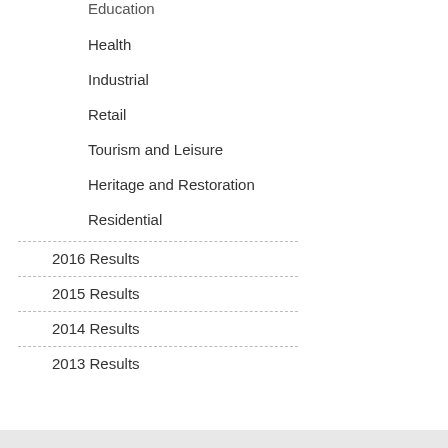Education
Health
Industrial
Retail
Tourism and Leisure
Heritage and Restoration
Residential
2016 Results
2015 Results
2014 Results
2013 Results